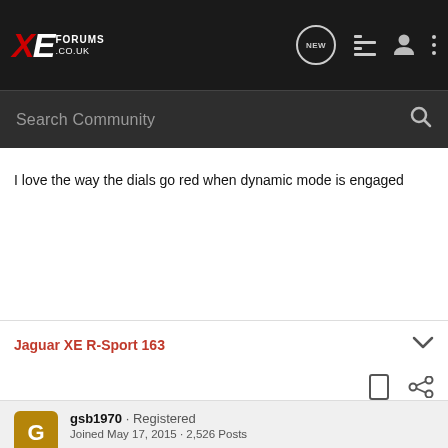XE Forums .co.uk — Search Community
I love the way the dials go red when dynamic mode is engaged
Jaguar XE R-Sport 163
gsb1970 · Registered
Joined May 17, 2015 · 2,526 Posts
#3 · Jul 24, 2015